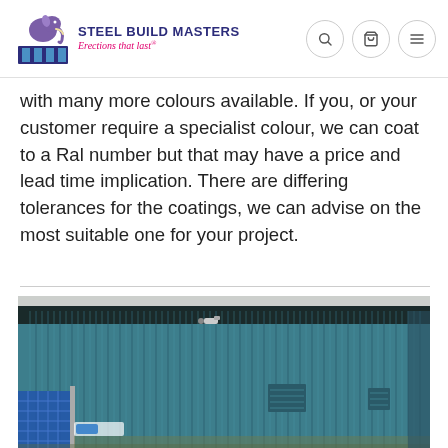Steel Build Masters – Erections that last
With many more colours available. If you, or your customer require a specialist colour, we can coat to a Ral number but that may have a price and lead time implication. There are differing tolerances for the coatings, we can advise on the most suitable one for your project.
[Figure (photo): Exterior of a teal/dark green corrugated steel building with louvred vents and a security camera mounted near the roofline, with a blue gate visible on the left side.]